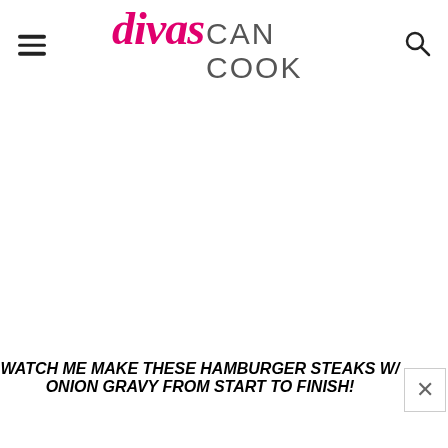divas CAN COOK
WATCH ME MAKE THESE HAMBURGER STEAKS W/ ONION GRAVY FROM START TO FINISH!